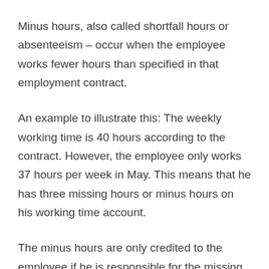Minus hours, also called shortfall hours or absenteeism – occur when the employee works fewer hours than specified in that employment contract.
An example to illustrate this: The weekly working time is 40 hours according to the contract. However, the employee only works 37 hours per week in May. This means that he has three missing hours or minus hours on his working time account.
The minus hours are only credited to the employee if he is responsible for the missing hours.